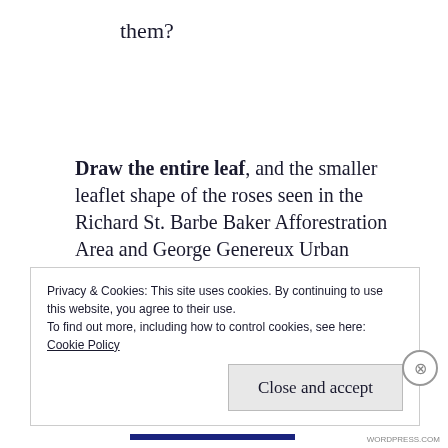them?
Draw the entire leaf, and the smaller leaflet shape of the roses seen in the Richard St. Barbe Baker Afforestration Area and George Genereux Urban Regional Park.
Privacy & Cookies: This site uses cookies. By continuing to use this website, you agree to their use.
To find out more, including how to control cookies, see here:
Cookie Policy
Close and accept